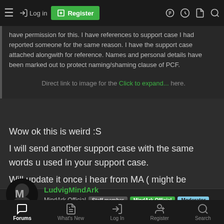Log in | Register
reported someone for the same reason. I have the support case attached alongwith for reference. Names and personal details have been marked out to protect naming/shaming clause of PCF.
Direct link to image for the support case here. Click to expand...
Wow ok this is weird :S
I will send another support case with the same words u used in your support case.
Will update it once i hear from MA ( might be tuesday/wednesday ?? )
LudvigMindArk
MindArk Official  Staff member  MindArk Official  Moderator
Forums  What's New  Log In  Register  Search